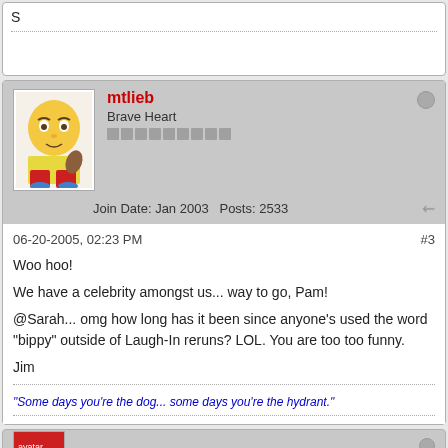S
mtlieb
Brave Heart
Join Date: Jan 2003   Posts: 2533
06-20-2005, 02:23 PM
#3
Woo hoo!
We have a celebrity amongst us... way to go, Pam!
@Sarah... omg how long has it been since anyone's used the word "bippy" outside of Laugh-In reruns? LOL. You are too too funny.
Jim
"Some days you're the dog... some days you're the hydrant."